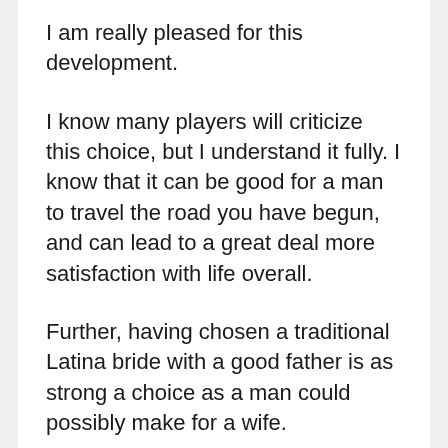I am really pleased for this development.
I know many players will criticize this choice, but I understand it fully. I know that it can be good for a man to travel the road you have begun, and can lead to a great deal more satisfaction with life overall.
Further, having chosen a traditional Latina bride with a good father is as strong a choice as a man could possibly make for a wife.
I'm just pleased as I can be about the whole thing. I'll miss some of the crazy times you have written on, but I look forward to the posts ahead. The world has plenty of darkness in it.